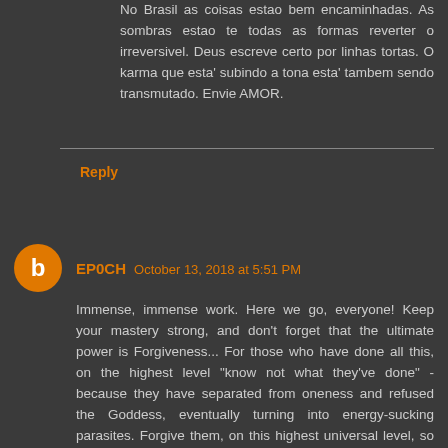No Brasil as coisas estao bem encaminhadas. As sombras estao te todas as formas reverter o irreversivel. Deus escreve certo por linhas tortas. O karma que esta' subindo a tona esta' tambem sendo transmutado. Envie AMOR.
Reply
EP0CH October 13, 2018 at 5:51 PM
Immense, immense work. Here we go, everyone! Keep your mastery strong, and don't forget that the ultimate power is Forgiveness... For those who have done all this, on the highest level "know not what they've done" - because they have separated from oneness and refused the Goddess, eventually turning into energy-sucking parasites. Forgive them, on this highest universal level, so that they too can find their way back (whatever way that is - even Dissolution) and in this way, wake back up to the truth that all things are - which has no reason to ever want to dismantle its own harmony. It is only those in Forgetting that are even capable of this. May they all Remember. As